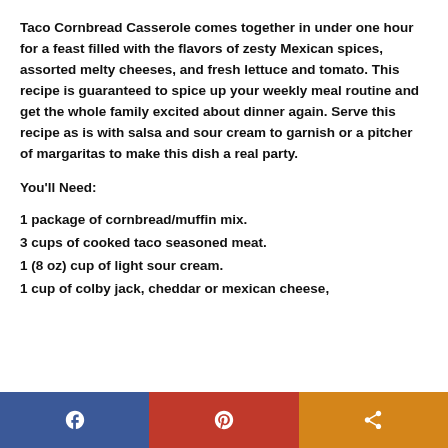Taco Cornbread Casserole comes together in under one hour for a feast filled with the flavors of zesty Mexican spices, assorted melty cheeses, and fresh lettuce and tomato. This recipe is guaranteed to spice up your weekly meal routine and get the whole family excited about dinner again. Serve this recipe as is with salsa and sour cream to garnish or a pitcher of margaritas to make this dish a real party.
You'll Need:
1 package of cornbread/muffin mix.
3 cups of cooked taco seasoned meat.
1 (8 oz) cup of light sour cream.
1 cup of colby jack, cheddar or mexican cheese,
[Figure (other): Social media sharing bar with Facebook, Pinterest, and share buttons]